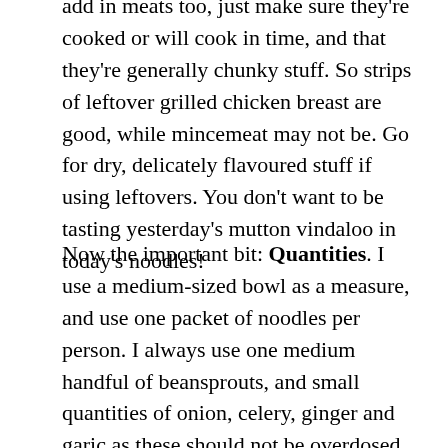add in meats too, just make sure they're cooked or will cook in time, and that they're generally chunky stuff. So strips of leftover grilled chicken breast are good, while mincemeat may not be. Go for dry, delicately flavoured stuff if using leftovers. You don't want to be tasting yesterday's mutton vindaloo in today's noodles!
Now the important bit: Quantities. I use a medium-sized bowl as a measure, and use one packet of noodles per person. I always use one medium handful of beansprouts, and small quantities of onion, celery, ginger and garic as these should not be overdosed on. 1-2 cloves of garlic, half inch of strong ginger, half a small Indian onion (a quarter Spanish white or brown onion is more than enough). Then I fill up the rest of the bowl with equal parts of the rest of the